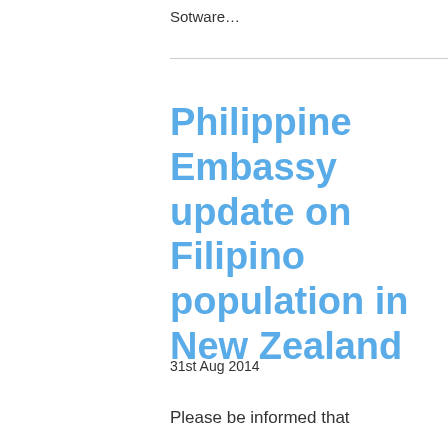Sotware...
Philippine Embassy update on Filipino population in New Zealand
31st Aug 2014
Please be informed that